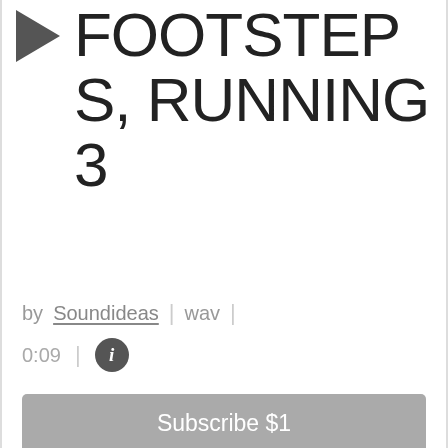▶ FOOTSTEPS, RUNNING 3
by Soundideas | wav | 0:09 | ℹ
Subscribe $1
Add to Cart